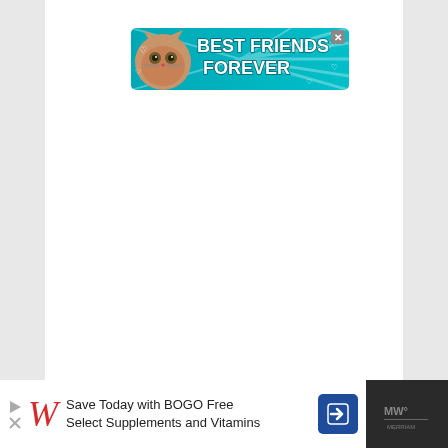[Figure (illustration): Advertisement banner: teal/turquoise background with a cartoon cat face on the left and bold white text reading 'BEST FRIENDS FOREVER' with heart decorations. Small X close button in top-right corner.]
[Figure (illustration): Walgreens advertisement banner at bottom: white background with Walgreens red cursive W logo, text 'Save Today with BOGO Free Select Supplements and Vitamins', blue navigation arrow icon. Play/close button icons on sides.]